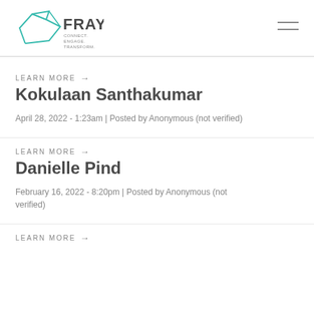[Figure (logo): FRAYME logo with teal geometric shape and tagline CONNECT. ENGAGE. TRANSFORM.]
LEARN MORE →
Kokulaan Santhakumar
April 28, 2022 - 1:23am | Posted by Anonymous (not verified)
LEARN MORE →
Danielle Pind
February 16, 2022 - 8:20pm | Posted by Anonymous (not verified)
LEARN MORE →